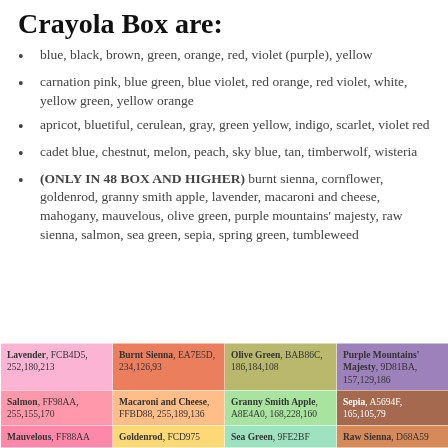Crayola Box are:
blue, black, brown, green, orange, red, violet (purple), yellow
carnation pink, blue green, blue violet, red orange, red violet, white, yellow green, yellow orange
apricot, bluetiful, cerulean, gray, green yellow, indigo, scarlet, violet red
cadet blue, chestnut, melon, peach, sky blue, tan, timberwolf, wisteria
(ONLY IN 48 BOX AND HIGHER) burnt sienna, cornflower, goldenrod, granny smith apple, lavender, macaroni and cheese, mahogany, mauvelous, olive green, purple mountains' majesty, raw sienna, salmon, sea green, sepia, spring green, tumbleweed
| Color | Color | Color | Color |
| --- | --- | --- | --- |
| Lavender, FCB4D5, 252,180,213 | Burnt Sienna, EA7E5D, 234,126,93 | Olive Green, BAB86C, 186,184,108 | Purple Mountains' Majesty, 9D81BA, 157,129,186 |
| Salmon, FF98AA, 255,155,170 | Macaroni and Cheese, FFBD88, 255,189,136 | Granny Smith Apple, A8E4A0, 168,228,160 | Sepia, A5694F, 165,105,79 |
| Mauvelous, FF88AA | Goldenrod, FCD975 | Sea Green, 9FE2BF | Raw Sienna, D68A59 |